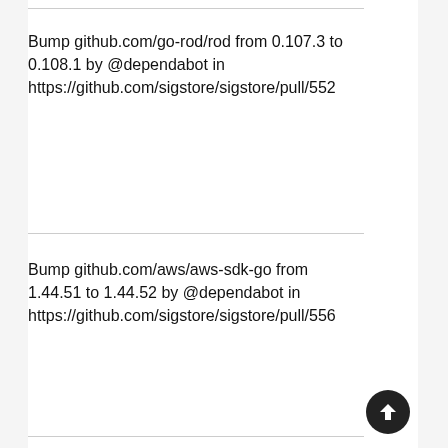Bump github.com/go-rod/rod from 0.107.3 to 0.108.1 by @dependabot in https://github.com/sigstore/sigstore/pull/552
Bump github.com/aws/aws-sdk-go from 1.44.51 to 1.44.52 by @dependabot in https://github.com/sigstore/sigstore/pull/556